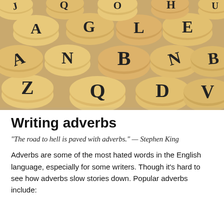[Figure (photo): Close-up photo of many wooden letter dice/blocks scattered together, showing letters J, Q, E, O, A, G, L, Z, N, B, D, V, H, and others on the faces of cylindrical and rounded wooden blocks.]
Writing adverbs
“The road to hell is paved with adverbs.” — Stephen King
Adverbs are some of the most hated words in the English language, especially for some writers. Though it's hard to see how adverbs slow stories down. Popular adverbs include: